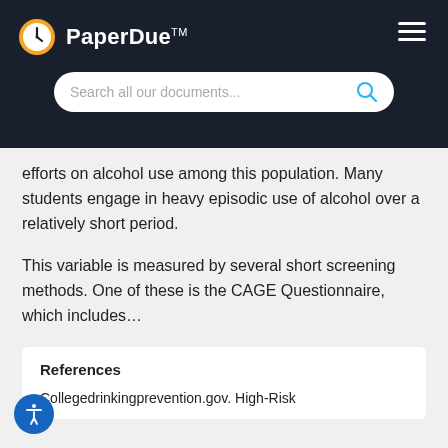PaperDue™
efforts on alcohol use among this population. Many students engage in heavy episodic use of alcohol over a relatively short period.
This variable is measured by several short screening methods. One of these is the CAGE Questionnaire, which includes…
References
Collegedrinkingprevention.gov. High-Risk